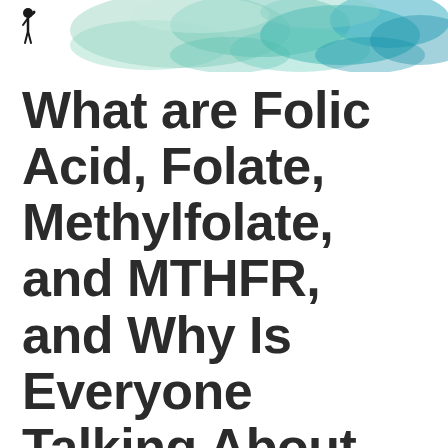[Figure (illustration): Header banner image showing a silhouette of a small child figure on the left and abstract green and teal smoke/cloud shapes on a white background, spanning the top of the page.]
What are Folic Acid, Folate, Methylfolate, and MTHFR, and Why Is Everyone Talking About Them?